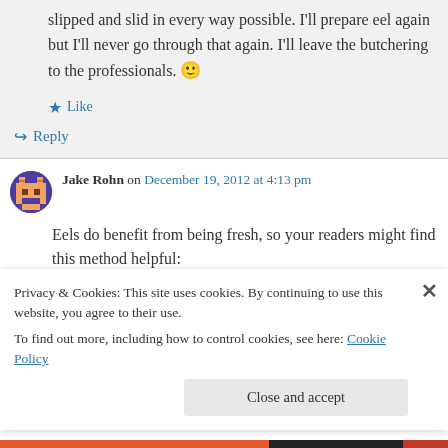slipped and slid in every way possible. I'll prepare eel again but I'll never go through that again. I'll leave the butchering to the professionals. 🙂
★ Like
↪ Reply
Jake Rohn on December 19, 2012 at 4:13 pm
Eels do benefit from being fresh, so your readers might find this method helpful:
Privacy & Cookies: This site uses cookies. By continuing to use this website, you agree to their use.
To find out more, including how to control cookies, see here: Cookie Policy
Close and accept